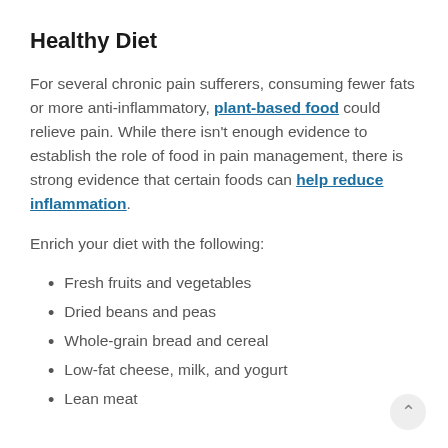Healthy Diet
For several chronic pain sufferers, consuming fewer fats or more anti-inflammatory, plant-based food could relieve pain. While there isn't enough evidence to establish the role of food in pain management, there is strong evidence that certain foods can help reduce inflammation.
Enrich your diet with the following:
Fresh fruits and vegetables
Dried beans and peas
Whole-grain bread and cereal
Low-fat cheese, milk, and yogurt
Lean meat